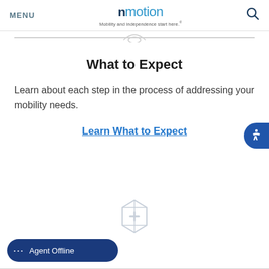MENU  numotion  Mobility and independence start here.
What to Expect
Learn about each step in the process of addressing your mobility needs.
Learn What to Expect
[Figure (illustration): Box with plus sign icon outline illustration]
Agent Offline